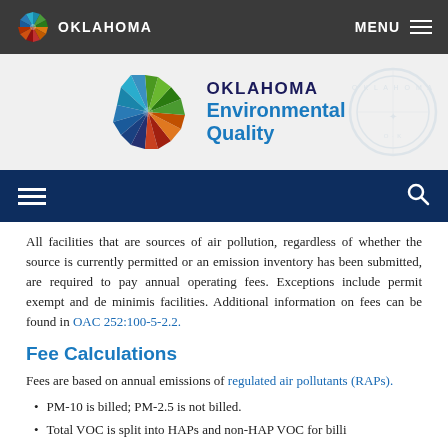OKLAHOMA | MENU
[Figure (logo): Oklahoma Environmental Quality logo with colorful pinwheel/star icon and text 'OKLAHOMA Environmental Quality']
[Figure (other): Dark navy navigation bar with hamburger menu icon on left and search icon on right]
All facilities that are sources of air pollution, regardless of whether the source is currently permitted or an emission inventory has been submitted, are required to pay annual operating fees. Exceptions include permit exempt and de minimis facilities. Additional information on fees can be found in OAC 252:100-5-2.2.
Fee Calculations
Fees are based on annual emissions of regulated air pollutants (RAPs).
PM-10 is billed; PM-2.5 is not billed.
Total VOC is split into HAPs and non-HAP VOC for billing...